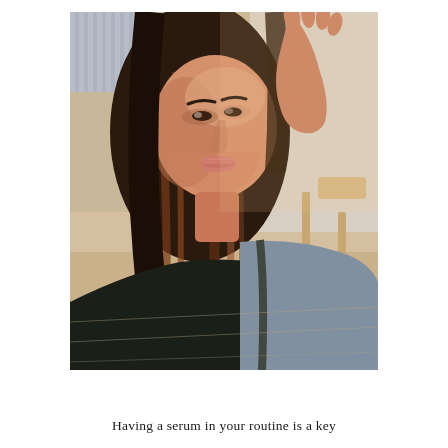[Figure (photo): A young woman with long brown hair with reddish highlights takes a selfie. She is wearing a dark top and a light grey jacket. Her hand is raised to her head. In the background is a wooden stool and a light-coloured hardwood floor.]
Having a serum in your routine is a key